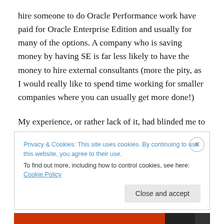hire someone to do Oracle Performance work have paid for Oracle Enterprise Edition and usually for many of the options. A company who is saving money by having SE is far less likely to have the money to hire external consultants (more the pity, as I would really like to spend time working for smaller companies where you can usually get more done!)
My experience, or rather lack of it, had blinded me to the possible uses of an Oracle performance feature. I wonder how much other stuff I don't know or appreciate about an
Privacy & Cookies: This site uses cookies. By continuing to use this website, you agree to their use.
To find out more, including how to control cookies, see here: Cookie Policy
Close and accept